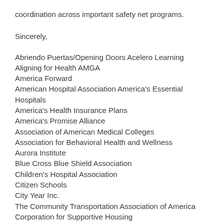coordination across important safety net programs.
Sincerely,
Abriendo Puertas/Opening Doors Acelero Learning
Aligning for Health AMGA
America Forward
American Hospital Association America's Essential Hospitals
America's Health Insurance Plans
America's Promise Alliance
Association of American Medical Colleges
Association for Behavioral Health and Wellness
Aurora Institute
Blue Cross Blue Shield Association
Children's Hospital Association
Citizen Schools
City Year Inc.
The Community Transportation Association of America
Corporation for Supportive Housing
Council on Social Work Education
Early Learning Alliance